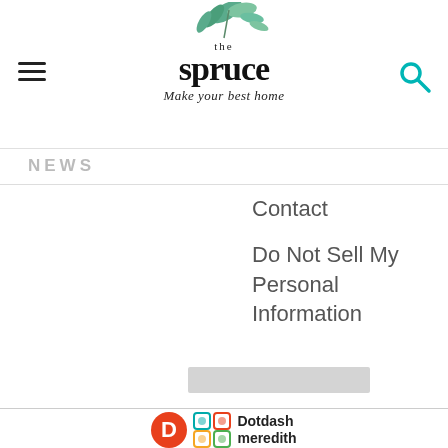the spruce — Make your best home
NEWS
Contact
Do Not Sell My Personal Information
[Figure (logo): Dotdash Meredith logo]
The Spruce is part of the Dotdash Meredith publishing family.
We've updated our Privacy Policy, which will go in to effect on September 1, 2022. Review our Privacy Policy
[Figure (photo): Dotdash Meredith ad banner: We help people find answers, solve problems and get inspired.]